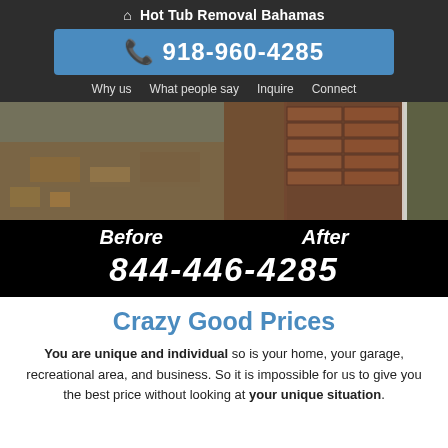Hot Tub Removal Bahamas
918-960-4285
Why us
What people say
Inquire
Connect
[Figure (photo): Before and after photos of a property cleanup/removal job. Left shows debris and soil, right shows a cleared brick wall area.]
Before  After  844-446-4285
Crazy Good Prices
You are unique and individual so is your home, your garage, recreational area, and business. So it is impossible for us to give you the best price without looking at your unique situation.